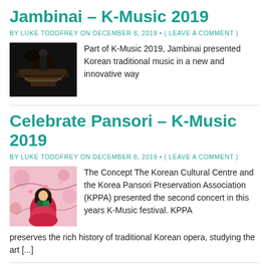Jambinai – K-Music 2019
BY LUKE TODDFREY ON DECEMBER 8, 2019 • ( LEAVE A COMMENT )
[Figure (photo): Dark performance photo of musicians with traditional Korean instrument]
Part of K-Music 2019, Jambinai presented Korean traditional music in a new and innovative way
Celebrate Pansori – K-Music 2019
BY LUKE TODDFREY ON DECEMBER 8, 2019 • ( LEAVE A COMMENT )
[Figure (photo): Korean woman in traditional hanbok costume performing on stage with pink floral backdrop]
The Concept The Korean Cultural Centre and the Korea Pansori Preservation Association (KPPA) presented the second concert in this years K-Music festival. KPPA preserves the rich history of traditional Korean opera, studying the art [...]
Kyungso Park: SB Circle + Hey String –